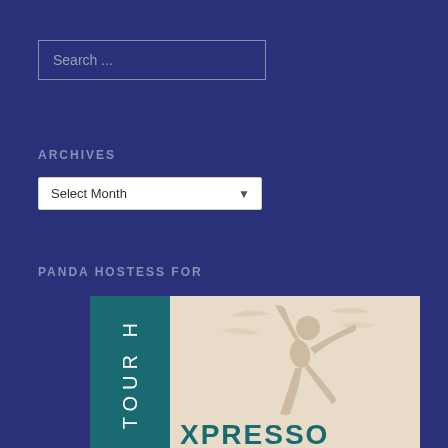Search ...
ARCHIVES
Select Month
PANDA HOSTESS FOR
[Figure (illustration): Xpresso Book Tours logo with teal panel showing vertical text 'TOUR H' on the left and a beige/cream panel on the right showing a dancer silhouette, with 'XPRESSO' text at the bottom in teal.]